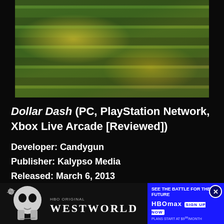[Figure (screenshot): In-game screenshot from Dollar Dash showing stacks of money/cash bundles in a colorful 3D environment with gold and red tones]
Dollar Dash (PC, PlayStation Network, Xbox Live Arcade [Reviewed])
Developer: Candygun
Publisher: Kalypso Media
Released: March 6, 2013
MSRP: $9.99
[Figure (photo): HBO Westworld advertisement banner: skull on left, Westworld title in center, HBO Max sign-up on right with 'See the Battle for the Future' text and 'Plans Start at $9.99/month']